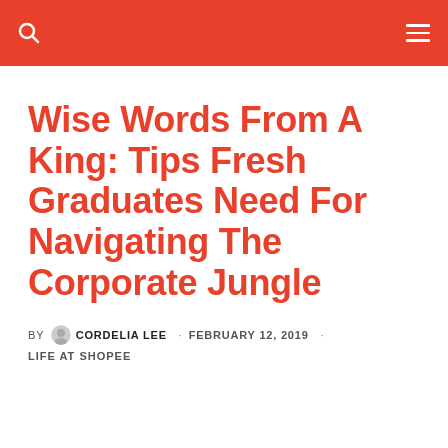Wise Words From A King: Tips Fresh Graduates Need For Navigating The Corporate Jungle
BY CORDELIA LEE · FEBRUARY 12, 2019 · LIFE AT SHOPEE